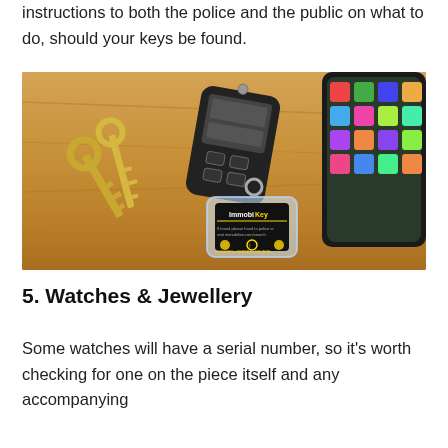instructions to both the police and the public on what to do, should your keys be found.
[Figure (photo): Keys on a keyring with an ImmobiKey tag, a car key fob, and a smartphone on a wooden surface]
5. Watches & Jewellery
Some watches will have a serial number, so it's worth checking for one on the piece itself and any accompanying